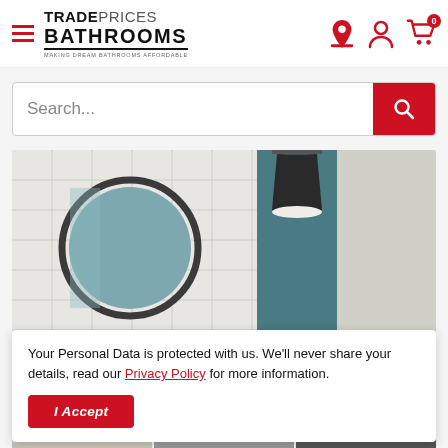TRADEPRICES BATHROOMS — MAKING DREAM BATHROOMS AFFORDABLE
Search...
[Figure (photo): Bathroom interior with round mirror on white tiles, dark teal wall, and black pendant lamp]
Your Personal Data is protected with us. We'll never share your details, read our Privacy Policy for more information.
I Accept
[Figure (photo): Bottom strip showing partial bathroom product images]